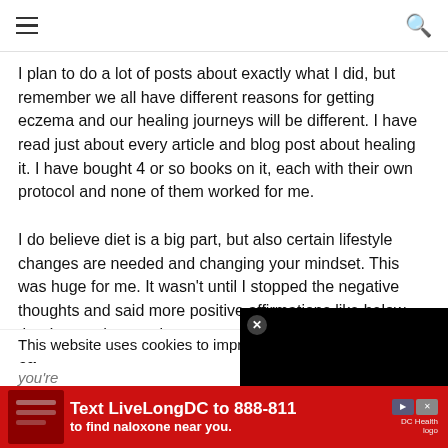Navigation header with hamburger menu and search icon
I plan to do a lot of posts about exactly what I did, but remember we all have different reasons for getting eczema and our healing journeys will be different. I have read just about every article and blog post about healing it. I have bought 4 or so books on it, each with their own protocol and none of them worked for me.
I do believe diet is a big part, but also certain lifestyle changes are needed and changing your mindset. This was huge for me. It wasn't until I stopped the negative thoughts and said more positive affirmations like below that I started to see improvements. They were small, but ea
[Figure (screenshot): Black video player overlay with close (x) button]
This website uses cookies to improve yo
you're
[Figure (infographic): Red advertisement banner: Text LiveLongDC to 888-811 to find naloxone near you. DC Health logo.]